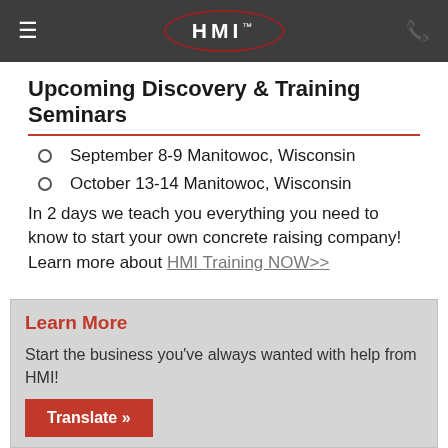HMI
Upcoming Discovery & Training Seminars
September 8-9 Manitowoc, Wisconsin
October 13-14 Manitowoc, Wisconsin
In 2 days we teach you everything you need to know to start your own concrete raising company! Learn more about HMI Training NOW>>
Learn More
Start the business you've always wanted with help from HMI!
Translate »